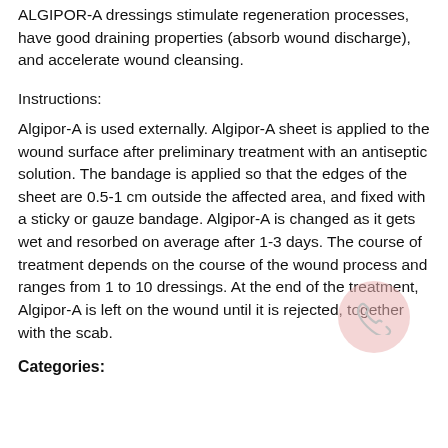ALGIPOR-A dressings stimulate regeneration processes, have good draining properties (absorb wound discharge), and accelerate wound cleansing.
Instructions:
Algipor-A is used externally. Algipor-A sheet is applied to the wound surface after preliminary treatment with an antiseptic solution. The bandage is applied so that the edges of the sheet are 0.5-1 cm outside the affected area, and fixed with a sticky or gauze bandage. Algipor-A is changed as it gets wet and resorbed on average after 1-3 days. The course of treatment depends on the course of the wound process and ranges from 1 to 10 dressings. At the end of the treatment, Algipor-A is left on the wound until it is rejected, together with the scab.
Categories: